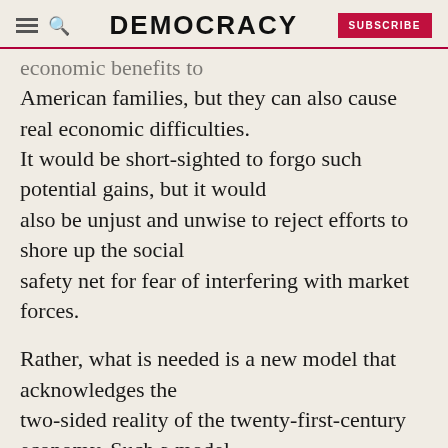DEMOCRACY | SUBSCRIBE
economic benefits to
American families, but they can also cause real economic difficulties.
It would be short-sighted to forgo such potential gains, but it would also be unjust and unwise to reject efforts to shore up the social safety net for fear of interfering with market forces.

Rather, what is needed is a new model that acknowledges the two-sided reality of the twenty-first-century economy. Such a model should be guided by an understanding that economic growth is stronger